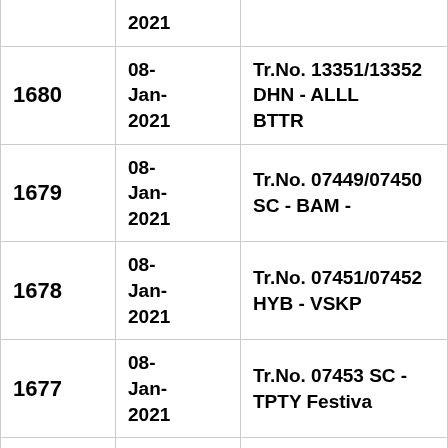| No. | Date | Description |
| --- | --- | --- |
|  | 2021 |  |
| 1680 | 08-Jan-2021 | Tr.No. 13351/13352 DHN - ALLL BTTR |
| 1679 | 08-Jan-2021 | Tr.No. 07449/07450 SC - BAM - |
| 1678 | 08-Jan-2021 | Tr.No. 07451/07452 HYB - VSKP |
| 1677 | 08-Jan-2021 | Tr.No. 07453 SC - TPTY Festiva |
| 1676 | 07-Jan- | Tr.No. 07225/07226 BZA - UBL - |